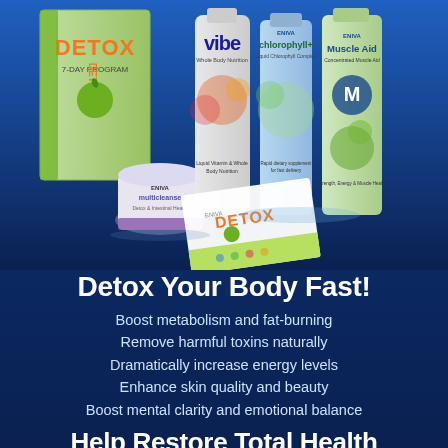[Figure (photo): Product photo showing ENIVA brand health supplement products including a Detox 7-Day Program box, Vibe liquid, Chlorophyll+ bottle, Muscle Aid bottle, Multicleanse tub, and a Detox brochure, all arranged on a blue background.]
Detox Your Body Fast!
Boost metabolism and fat-burning
Remove harmful toxins naturally
Dramatically increase energy levels
Enhance skin quality and beauty
Boost mental clarity and emotional balance
Help Restore Total Health